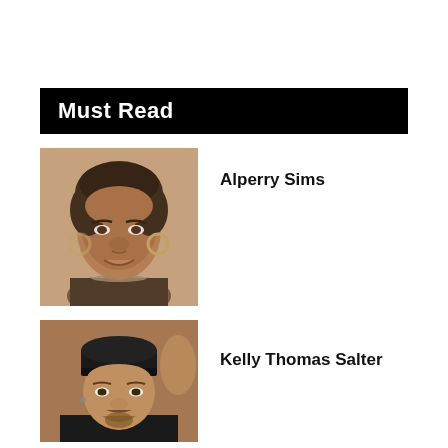Must Read
[Figure (photo): Portrait photo of Alperry Sims, a woman with dark curly hair and hoop earrings, vintage/sepia-toned photograph]
Alperry Sims
[Figure (photo): Portrait photo of Kelly Thomas Salter, a man wearing a black beanie, looking upward, goatee]
Kelly Thomas Salter